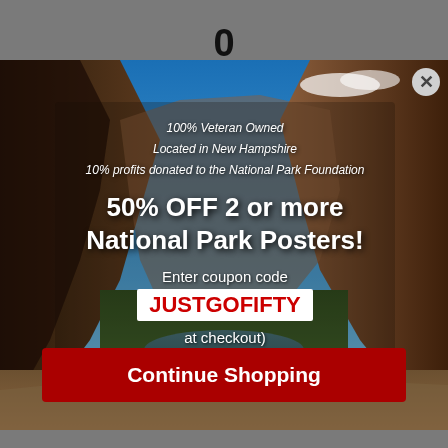0
[Figure (photo): Canyon landscape photo (Zion National Park style) with deep red rock walls, blue sky, river in valley below — serves as background for a promotional modal popup]
100% Veteran Owned
Located in New Hampshire
10% profits donated to the National Park Foundation
50% OFF 2 or more National Park Posters!
Enter coupon code
JUSTGOFIFTY
at checkout)
Continue Shopping